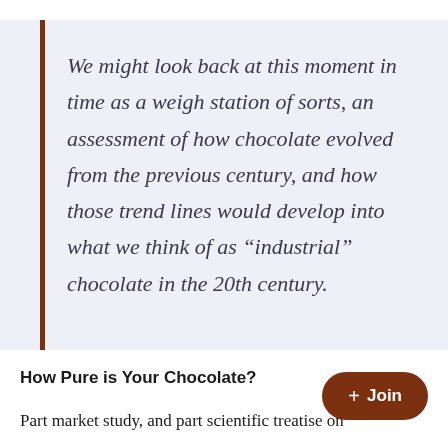We might look back at this moment in time as a weigh station of sorts, an assessment of how chocolate evolved from the previous century, and how those trend lines would develop into what we think of as “industrial” chocolate in the 20th century.
How Pure is Your Chocolate?
Part market study, and part scientific treatise on